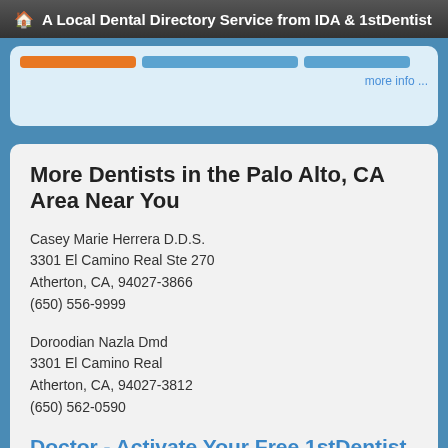A Local Dental Directory Service from IDA & 1stDentist
[Figure (screenshot): Partial view of a card with orange and blue buttons and a 'more info ...' link]
More Dentists in the Palo Alto, CA Area Near You
Casey Marie Herrera D.D.S.
3301 El Camino Real Ste 270
Atherton, CA, 94027-3866
(650) 556-9999
Doroodian Nazla Dmd
3301 El Camino Real
Atherton, CA, 94027-3812
(650) 562-0590
Doctor - Activate Your Free 1stDentist